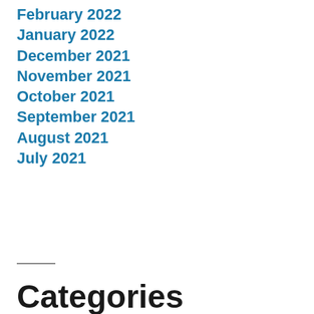February 2022
January 2022
December 2021
November 2021
October 2021
September 2021
August 2021
July 2021
Categories